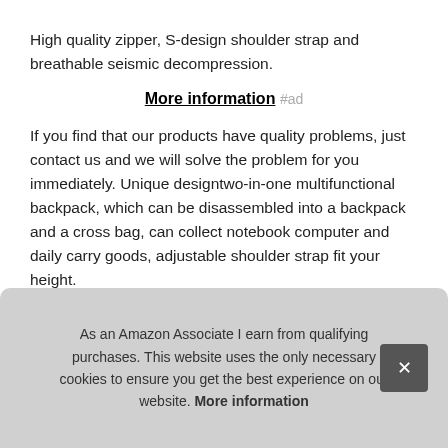High quality zipper, S-design shoulder strap and breathable seismic decompression.
More information #ad
If you find that our products have quality problems, just contact us and we will solve the problem for you immediately. Unique design​two-in-one multifunctional backpack, which can be disassembled into a backpack and a cross bag, can collect notebook computer and daily carry goods, adjustable shoulder strap fit your height.
Mat... and from mee...
As an Amazon Associate I earn from qualifying purchases. This website uses the only necessary cookies to ensure you get the best experience on our website. More information